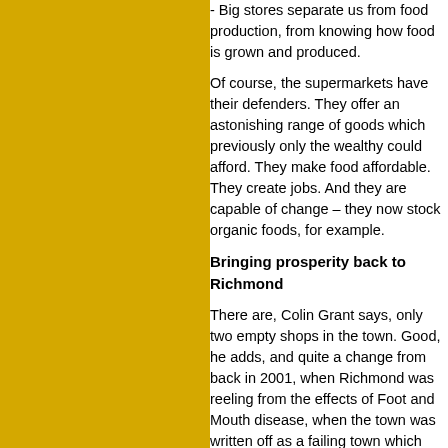[Figure (other): Yellow/gold colored rectangular panel on the left side of the page]
- Big stores separate us from food production, from knowing how food is grown and produced.
Of course, the supermarkets have their defenders. They offer an astonishing range of goods which previously only the wealthy could afford. They make food affordable. They create jobs. And they are capable of change – they now stock organic foods, for example.
Bringing prosperity back to Richmond
There are, Colin Grant says, only two empty shops in the town. Good, he adds, and quite a change from back in 2001, when Richmond was reeling from the effects of Foot and Mouth disease, when the town was written off as a failing town which was underperforming compared to similar towns in the country. Last year we were awarded the best market.
The transformation has not happened by itself. There is now a strong local Partnership body, linking businesses, civic bodies and people who wanted to make a difference. The Partnership has helped create the Richmond Swale Valley Community Initiative. Funding has been obtained from both the public sector and from grant-giving bodies like the Countryside Agency (now Natural England) and the regional development agency, which can offer financial help.
Richmond is primarily a Georgian town, with most of its buildings dating from 1750. It's a great heritage, but it's one which was not celebrated here – the place seemed run-down rather than boasting its history. Now many shopkeepers are eligible for heritage grants to help them smarten up the external appearance of their shops. There are more traditional shop fronts, increasingly painted in traditional Georgian colours of green, black, cream and white. "You get a sense now of what the